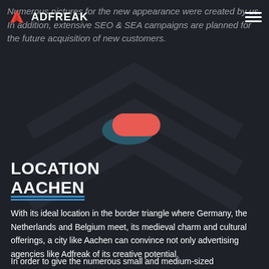ADFREAK
Numerous pictures for the new appearance were created by us. In addition, extensive SEO & SEA campaigns are planned for the future acquisition of new customers.
[Figure (illustration): Decorative pill/toggle shape in coral-red and dark teal overlapping on dark chevron background]
LOCATION AACHEN
With its ideal location in the border triangle where Germany, the Netherlands and Belgium meet, its medieval charm and cultural offerings, a city like Aachen can convince not only advertising agencies like Adfreak of its creative potential.
In order to give the numerous small and medium-sized